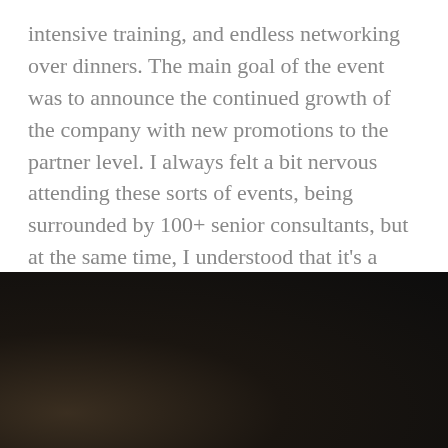intensive training, and endless networking over dinners. The main goal of the event was to announce the continued growth of the company with new promotions to the partner level. I always felt a bit nervous attending these sorts of events, being surrounded by 100+ senior consultants, but at the same time, I understood that it's a great chance to learn and polish myself as a professional. Thank you, Civitta, for always inviting me.
[Figure (photo): Dark, dimly lit photograph, mostly black with some brown/dark tones visible in the lower left area, likely an event or indoor scene.]